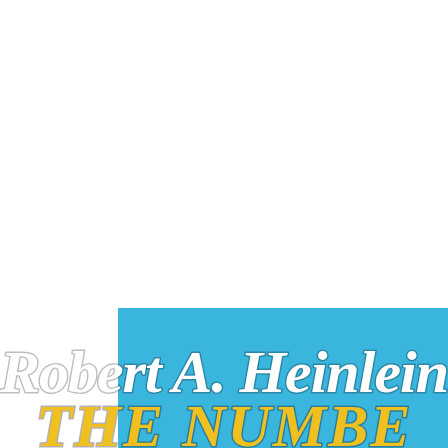[Figure (illustration): Book cover for 'The Number of the Beast' by Robert A. Heinlein. Blue background with large white italic serif text showing the author name 'Robert A. Heinlein' and yellow bold title text 'THE NUMBE' (partially visible, cut off at bottom). The top portion of the page is white, showing only the bottom portion of the book cover.]